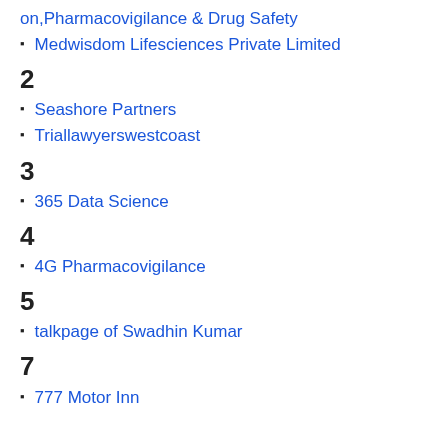on,Pharmacovigilance & Drug Safety
Medwisdom Lifesciences Private Limited
2
Seashore Partners
Triallawyerswestcoast
3
365 Data Science
4
4G Pharmacovigilance
5
talkpage of Swadhin Kumar
7
777 Motor Inn